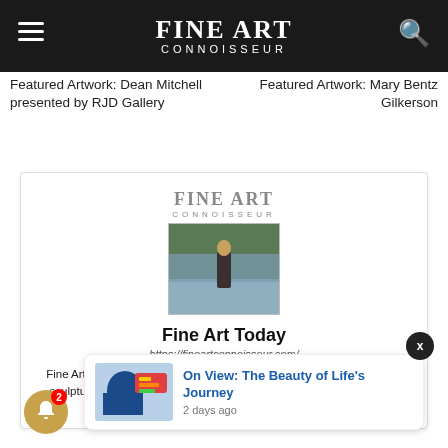FINE ART CONNOISSEUR
Featured Artwork: Dean Mitchell presented by RJD Gallery
Featured Artwork: Mary Bentz Gilkerson
[Figure (screenshot): Fine Art Connoisseur magazine logo with photo of person standing in river, card showing Fine Art Today newsletter with URL https://fineartconnoisseur.com/]
Fine Art Today
https://fineartconnoisseur.com/
Fine Art Today is the official newsletter of Fine Art Connoisseur, innovative sculptures, drawings, and prints — both historical and contemporary, American and European.
On View: The Beauty of Life's Journey
2 days ago